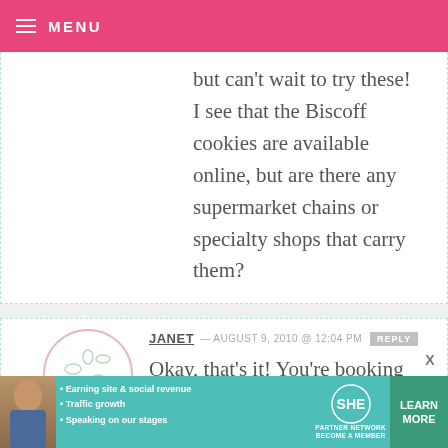MENU
but can't wait to try these! I see that the Biscoff cookies are available online, but are there any supermarket chains or specialty shops that carry them?
JANET — AUGUST 9, 2010 @ 12:04 PM REPLY
Okay, that's it! You're booking my Delta flights from now on because I never get cookies!
[Figure (infographic): Advertisement banner for SHE Partner Network with photo of woman, bullet points about earning site & social revenue, traffic growth, speaking on our stages, SHE logo, and LEARN MORE button]